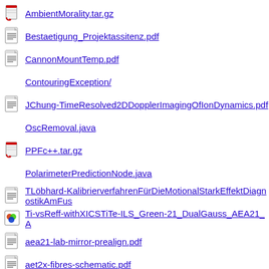AmbientMorality.tar.gz
Bestaetigung_Projektassitenz.pdf
CannonMountTemp.pdf
ContouringException/
JChung-TimeResolved2DDopplerImagingOfIonDynamics.pdf
OscRemoval.java
PPFc++.tar.gz
PolarimeterPredictionNode.java
TLöbhard-KalibrierverfahrenFürDieMotionalStarkEffektDiagnostikAmFus
Ti-vsReff-withXICSTiTe-ILS_Green-21_DualGauss_AEA21_A
aea21-lab-mirror-prealign.pdf
aet2x-fibres-schematic.pdf